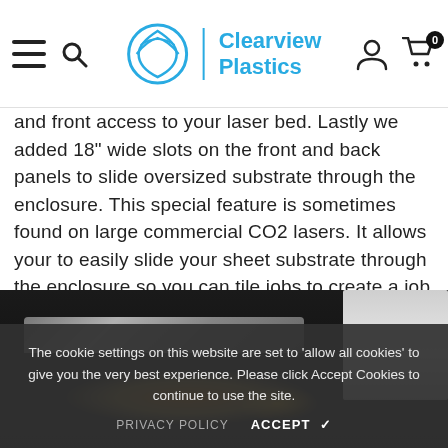Clearview Plastics
and front access to your laser bed. Lastly we added 18″ wide slots on the front and back panels to slide oversized substrate through the enclosure. This special feature is sometimes found on large commercial CO2 lasers. It allows your to easily slide your sheet substrate through the enclosure so you can tile jobs to create a job with an infinite length.
[Figure (photo): Dark photo of a laser engraver enclosure interior with glowing orange/amber light reflecting off a metallic tray, with a white shelf unit visible on the right side.]
The cookie settings on this website are set to 'allow all cookies' to give you the very best experience. Please click Accept Cookies to continue to use the site.
PRIVACY POLICY    ACCEPT ✔